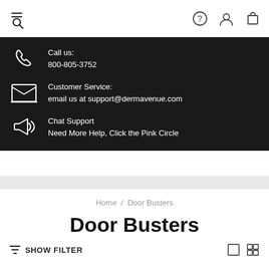Navigation bar with menu/search icon, help icon, account icon, and cart icon
Call us: 800-805-3752
Customer Service: email us at support@dermavenue.com
Chat Support — Need More Help, Click the Pink Circle
Home / Door Busters
Door Busters
SHOW FILTER